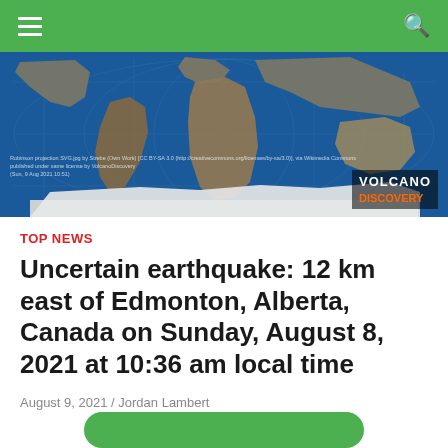≡  🔍
[Figure (map): World map in Robinson projection showing global geography with blue ocean background and landmasses in earth tones. Volcano Discovery watermark logo in bottom right. Small attribution text in bottom left.]
TOP NEWS
Uncertain earthquake: 12 km east of Edmonton, Alberta, Canada on Sunday, August 8, 2021 at 10:36 am local time
August 9, 2021 / Jordan Lambert